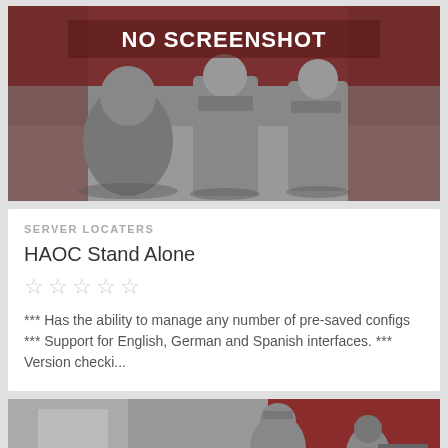[Figure (screenshot): Gaming screenshot placeholder showing soldier characters with 'NO SCREENSHOT' banner overlay on dark red/grey background]
SERVER LOCATERS
HAOC Stand Alone
☆ ☆ ☆ ☆ ☆
*** Has the ability to manage any number of pre-saved configs *** Support for English, German and Spanish interfaces. *** Version checki...
[Figure (screenshot): Second gaming screenshot placeholder showing soldier characters with 'NO SCREENSHOT' banner overlay on dark red/grey background]